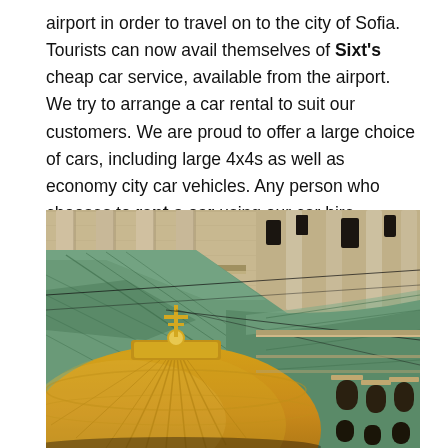airport in order to travel on to the city of Sofia. Tourists can now avail themselves of Sixt's cheap car service, available from the airport. We try to arrange a car rental to suit our customers. We are proud to offer a large choice of cars, including large 4x4s as well as economy city car vehicles. Any person who chooses to rent a car using our car hire services will also gain access to a superb range of extra add-ons including: include both sat nav and comprehensive car hire insurance.
[Figure (photo): Close-up photograph of an ornate religious building (cathedral/church) in Sofia, Bulgaria, featuring a large golden dome with a golden cross on top, green patinated roofing details, decorative stone columns, arched windows, and elaborate architectural ornamentation.]